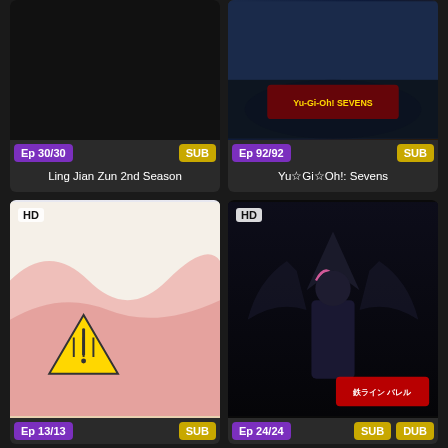[Figure (screenshot): Anime streaming app grid showing 4 anime titles: Ling Jian Zun 2nd Season (Ep 30/30, SUB), Yu☆Gi☆Oh!: Sevens (Ep 92/92, SUB), an unnamed cooking/maid anime (Ep 13/13, SUB, HD), and an unnamed mecha/action anime (Ep 24/24, SUB DUB, HD)]